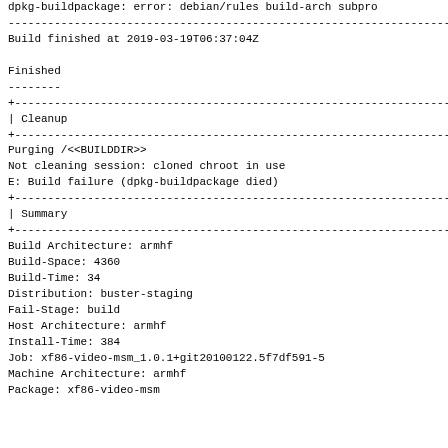dpkg-buildpackage: error: debian/rules build-arch subpro
------------------------------------------------------------------------
Build finished at 2019-03-19T06:37:04Z

Finished
--------
+------------------------------------------------------------------------
| Cleanup
+------------------------------------------------------------------------
Purging /<<BUILDDIR>>
Not cleaning session: cloned chroot in use
E: Build failure (dpkg-buildpackage died)
+------------------------------------------------------------------------
| Summary
+------------------------------------------------------------------------
Build Architecture: armhf
Build-Space: 4360
Build-Time: 34
Distribution: buster-staging
Fail-Stage: build
Host Architecture: armhf
Install-Time: 384
Job: xf86-video-msm_1.0.1+git20100122.5f7df591-5
Machine Architecture: armhf
Package: xf86-video-msm